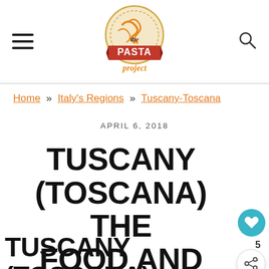The Pasta Project — navigation header with hamburger menu and search icon
Home » Italy's Regions » Tuscany-Toscana
APRIL 6, 2018
TUSCANY (TOSCANA) THE FOOD AND PASTA
TUSCANY (TOSCANA);